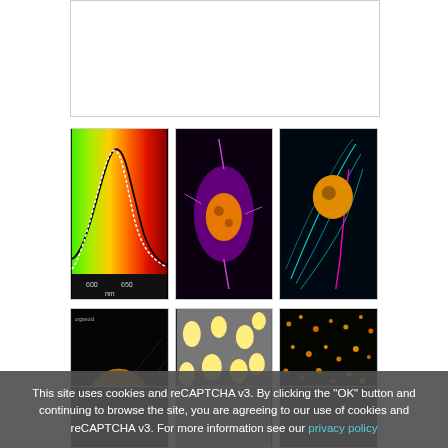[Figure (photo): White empty box at the top, partially visible]
[Figure (continuous-plot): Fluorescence excitation/emission spectrum chart with green-to-red gradient background and overlaid spectral curves (black solid and white dashed lines), x-axis labeled 600, 650 nm]
[Figure (photo): Fluorescence microscopy image of a single cell with magenta/purple actin filaments and orange/yellow nucleus on black background]
[Figure (photo): Fluorescence microscopy image of a cell with cyan/blue cytoskeleton filaments, magenta filaments, and orange/yellow nucleus on black background]
[Figure (photo): 3D fluorescence microscopy image of an oval/egg-shaped cell structure in orange/yellow tones on dark background with grid lines]
[Figure (photo): Fluorescence microscopy image showing multiple cells with yellow/white oval nuclei on gray phase contrast background]
[Figure (photo): Dark fluorescence microscopy image showing scattered orange/yellow dots/particles on black background]
This site uses cookies and reCAPTCHA v3. By clicking the "OK" button and continuing to browse the site, you are agreeing to our use of cookies and reCAPTCHA v3. For more information see our privacy policy